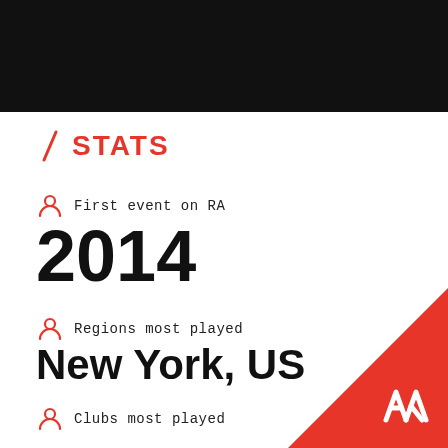[Figure (photo): Dark/black background image at top of page]
STATS
First event on RA
2014
Regions most played
New York, US
Clubs most played